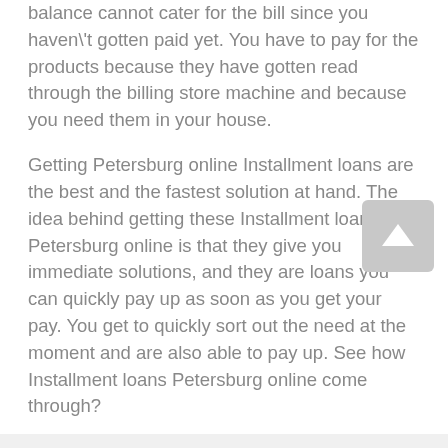balance cannot cater for the bill since you haven\'t gotten paid yet. You have to pay for the products because they have gotten read through the billing store machine and because you need them in your house.
Getting Petersburg online Installment loans are the best and the fastest solution at hand. The idea behind getting these Installment loans Petersburg online is that they give you immediate solutions, and they are loans you can quickly pay up as soon as you get your pay. You get to quickly sort out the need at the moment and are also able to pay up. See how Installment loans Petersburg online come through?
Apply Now
Applying does NOT affect your credit score!
No credit check to apply.